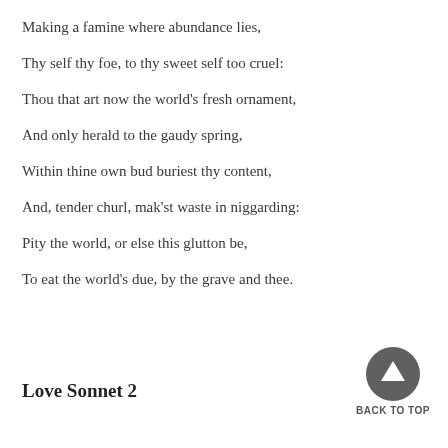Making a famine where abundance lies,
Thy self thy foe, to thy sweet self too cruel:
Thou that art now the world's fresh ornament,
And only herald to the gaudy spring,
Within thine own bud buriest thy content,
And, tender churl, mak'st waste in niggarding:
Pity the world, or else this glutton be,
To eat the world's due, by the grave and thee.
Love Sonnet 2
[Figure (logo): Dark grey circle with white upward-pointing chevron/triangle arrow, with 'BACK TO TOP' text below]